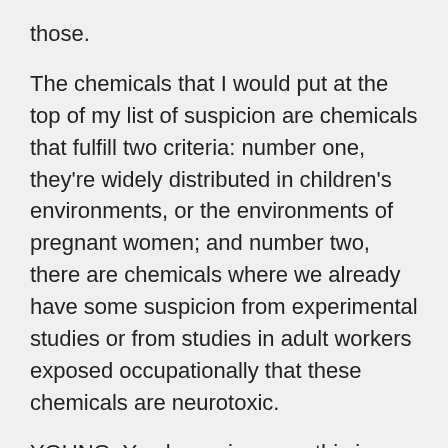those.
The chemicals that I would put at the top of my list of suspicion are chemicals that fulfill two criteria: number one, they're widely distributed in children's environments, or the environments of pregnant women; and number two, there are chemicals where we already have some suspicion from experimental studies or from studies in adult workers exposed occupationally that these chemicals are neurotoxic.
YOUNG: You know, in a way this is pretty scary because the upshot of what you're suggesting here is that there are exposures that in many cases may be well beyond our control that may determine whether or not our child is autistic, but on the other hand, it also implies we can figure this out and do something about it.